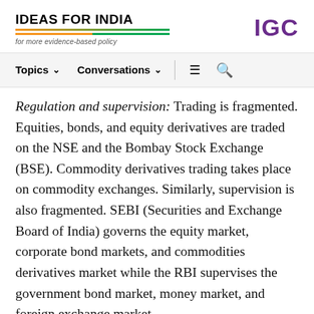IDEAS FOR INDIA
for more evidence-based policy
IGC
Topics  Conversations  ≡  🔍
Regulation and supervision: Trading is fragmented. Equities, bonds, and equity derivatives are traded on the NSE and the Bombay Stock Exchange (BSE). Commodity derivatives trading takes place on commodity exchanges. Similarly, supervision is also fragmented. SEBI (Securities and Exchange Board of India) governs the equity market, corporate bond markets, and commodities derivatives market while the RBI supervises the government bond market, money market, and foreign exchange market.